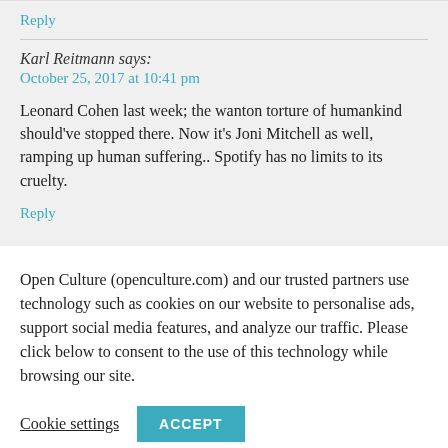Reply
Karl Reitmann says:
October 25, 2017 at 10:41 pm
Leonard Cohen last week; the wanton torture of humankind should've stopped there. Now it's Joni Mitchell as well, ramping up human suffering.. Spotify has no limits to its cruelty.
Reply
Open Culture (openculture.com) and our trusted partners use technology such as cookies on our website to personalise ads, support social media features, and analyze our traffic. Please click below to consent to the use of this technology while browsing our site.
Cookie settings
ACCEPT